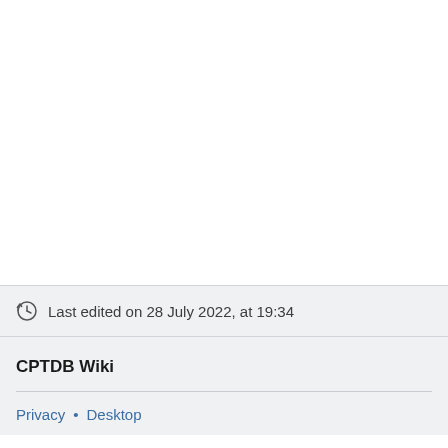Last edited on 28 July 2022, at 19:34
CPTDB Wiki
Privacy • Desktop